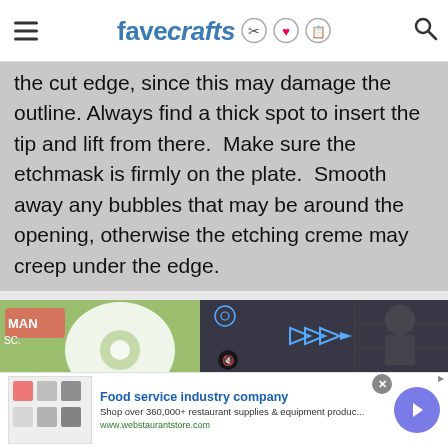favecrafts
the cut edge, since this may damage the outline. Always find a thick spot to insert the tip and lift from there. Make sure the etchmask is firmly on the plate. Smooth away any bubbles that may be around the opening, otherwise the etching creme may creep under the edge.
[Figure (screenshot): Embedded video player showing a craft tutorial, with play button overlay and mute icon. Left side shows a colorful jungle/game-themed image with a white doily/lace object.]
Food service industry company
Shop over 360,000+ restaurant supplies & equipment produc...
www.webstaurantstore.com